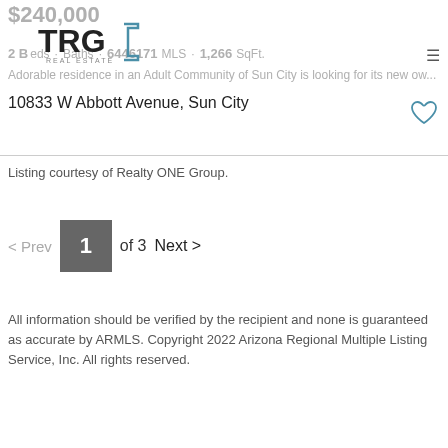$240,000
[Figure (logo): TRG Real Estate logo]
2 Beds · Baths · 6446171 MLS · 1,266 SqFt.
Adorable residence in an Adult Community of Sun City is looking for its new ow...
10833 W Abbott Avenue, Sun City
Listing courtesy of Realty ONE Group.
< Prev  1  of 3  Next >
All information should be verified by the recipient and none is guaranteed as accurate by ARMLS. Copyright 2022 Arizona Regional Multiple Listing Service, Inc. All rights reserved.